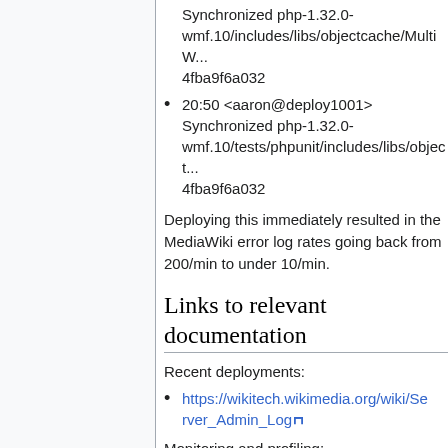Synchronized php-1.32.0-wmf.10/includes/libs/objectcache/MultiW... 4fba9f6a032
20:50 <aaron@deploy1001> Synchronized php-1.32.0-wmf.10/tests/phpunit/includes/libs/object... 4fba9f6a032
Deploying this immediately resulted in the MediaWiki error log rates going back from 200/min to under 10/min.
Links to relevant documentation
Recent deployments:
https://wikitech.wikimedia.org/wiki/Server_Admin_Log
Monitoring and profiling:
https://logstash.wikimedia.org/app/ki